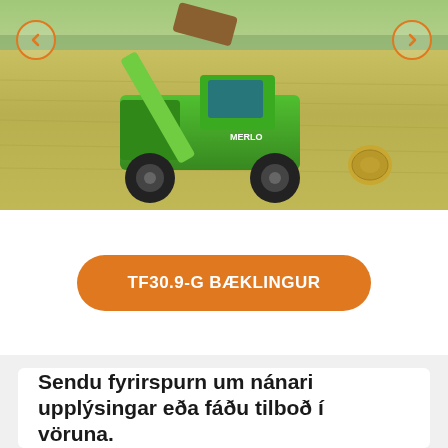[Figure (photo): Green Merlo telehandler machine working in a field, lifting a hay bale. Navigation arrows on left and right sides of the image.]
TF30.9-G BÆKLINGUR
Sendu fyrirspurn um nánari upplýsingar eða fáðu tilboð í vöruna.